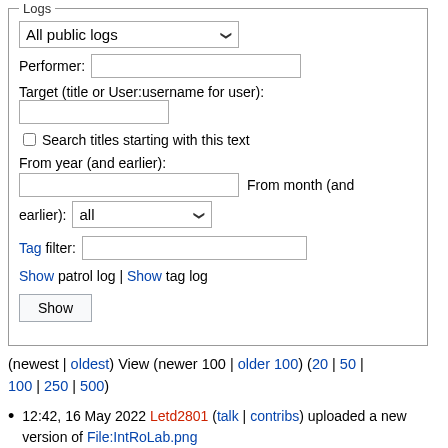Logs
All public logs (dropdown)
Performer: [text input]
Target (title or User:username for user): [text input]
Search titles starting with this text
From year (and earlier): [text input] From month (and earlier): all (dropdown)
Tag filter: [text input]
Show patrol log | Show tag log
Show [button]
(newest | oldest) View (newer 100 | older 100) (20 | 50 | 100 | 250 | 500)
12:42, 16 May 2022 Letd2801 (talk | contribs) uploaded a new version of File:IntRoLab.png
16:20, 17 February 2022 Labm2414 (talk | contribs) uploaded File:ForegroundOption4.jpg